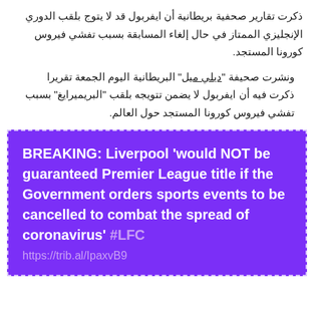ذكرت تقارير صحفية بريطانية أن ايفربول قد لا يتوج بلقب الدوري الإنجليزي الممتاز في حال إلغاء المسابقة بسبب تفشي فيروس كورونا المستجد.
ونشرت صحيفة "ديلي ميل" البريطانية اليوم الجمعة تقريرا ذكرت فيه أن ايفربول لا يضمن تتويجه بلقب "البريميرايغ" بسبب تفشي فيروس كورونا المستجد حول العالم.
[Figure (other): Purple box with dashed white border containing breaking news text in English about Liverpool not being guaranteed the Premier League title if the Government orders sports events cancelled due to coronavirus, with hashtag #LFC and a link https://trib.al/IpaxvB9]